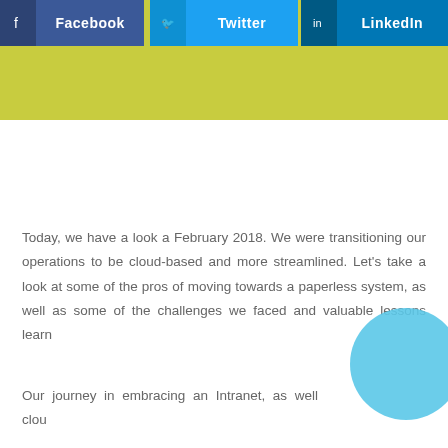[Figure (infographic): Social media share buttons for Facebook (dark blue), Twitter (light blue), and LinkedIn (darker blue), displayed side by side on a yellow-green banner background.]
Today, we have a look a February 2018. We were transitioning our operations to be cloud-based and more streamlined. Let's take a look at some of the pros of moving towards a paperless system, as well as some of the challenges we faced and valuable lessons learn
Our journey in embracing an Intranet, as well clou